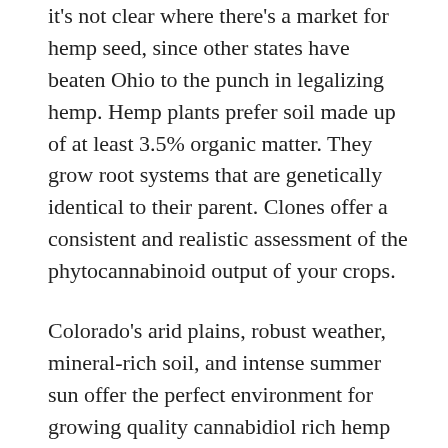it's not clear where there's a market for hemp seed, since other states have beaten Ohio to the punch in legalizing hemp. Hemp plants prefer soil made up of at least 3.5% organic matter. They grow root systems that are genetically identical to their parent. Clones offer a consistent and realistic assessment of the phytocannabinoid output of your crops.
Colorado's arid plains, robust weather, mineral-rich soil, and intense summer sun offer the perfect environment for growing quality cannabidiol rich hemp plants. Colorado also grows more hemp than any other state in the nation where the legalized growing of hemp is allowed. In order to comply with federal law regarding hemp production, VDACS's regulation of industrial hemp growers in Virginia will be different in 2022 than it has been in previous years. Part of the reason that your soil needs to have quality drainage is that industrial hemp requires the